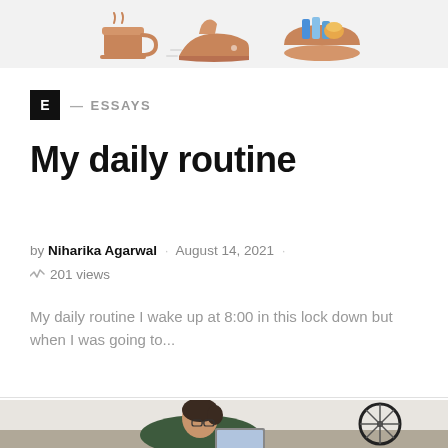[Figure (illustration): Top banner with three icons: a coffee cup, a shoe/sneaker, and a bowl with food items — daily routine lifestyle icons on a light gray background]
E — ESSAYS
My daily routine
by Niharika Agarwal · August 14, 2021 · 201 views
My daily routine I wake up at 8:00 in this lock down but when I was going to...
[Figure (photo): Photo of a woman with glasses and dark hair pulled back, wearing a green hoodie, working on a laptop at a desk. A bicycle wheel/steering is visible on the right. Background shows shelves and a light wall.]